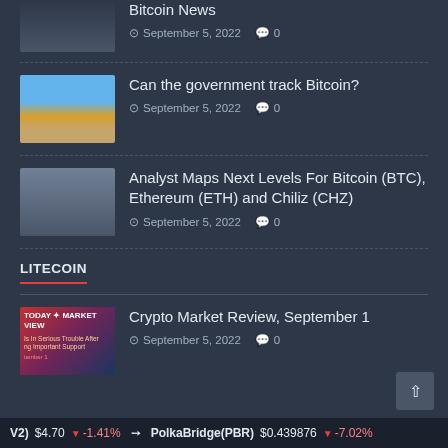Bitcoin News
September 5, 2022  0
Can the government track Bitcoin?
September 5, 2022  0
Analyst Maps Next Levels For Bitcoin (BTC), Ethereum (ETH) and Chiliz (CHZ)
September 5, 2022  0
LITECOIN
Crypto Market Review, September 1
September 5, 2022  0
(V2)  $4.70  -1.41%    PolkaBridge(PBR)  $0.439876  -7.02%